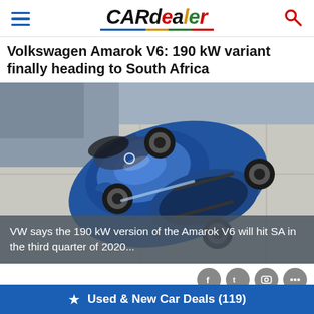CARdealer
Volkswagen Amarok V6: 190 kW variant finally heading to South Africa
[Figure (photo): Aerial/top-down view of a blue Volkswagen Amarok V6 pickup truck parked on a concrete surface, photographed from above at a slight angle showing the roof, hood, bed, and wheels.]
VW says the 190 kW version of the Amarok V6 will hit SA in the third quarter of 2020...
Used & New Car Deals (119)